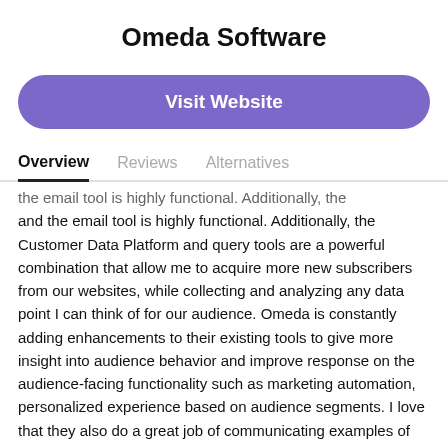Omeda Software
Visit Website
Overview
Reviews
Alternatives
...the email tool is highly functional. Additionally, the Customer Data Platform and query tools are a powerful combination that allow me to acquire more new subscribers from our websites, while collecting and analyzing any data point I can think of for our audience. Omeda is constantly adding enhancements to their existing tools to give more insight into audience behavior and improve response on the audience-facing functionality such as marketing automation, personalized experience based on audience segments. I love that they also do a great job of communicating examples of tactics that are being used successfully by their customers. Overall, we've been able to at least double the number of